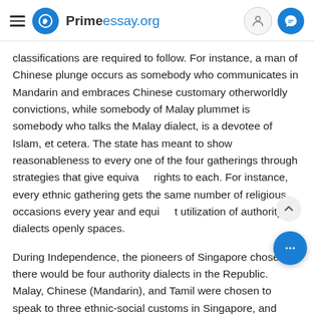Primeessay.org
classifications are required to follow. For instance, a man of Chinese plunge occurs as somebody who communicates in Mandarin and embraces Chinese customary otherworldly convictions, while somebody of Malay plummet is somebody who talks the Malay dialect, is a devotee of Islam, et cetera. The state has meant to show reasonableness to every one of the four gatherings through strategies that give equiva rights to each. For instance, every ethnic gathering gets the same number of religious occasions every year and equivalent utilization of authority dialects openly spaces.
During Independence, the pioneers of Singapore chose that there would be four authority dialects in the Republic. Malay, Chinese (Mandarin), and Tamil were chosen to speak to three ethnic-social customs in Singapore, and English in view of its global status and Singapore's provincial foundation. Of the four authority dialects, Malay is assigned the national dialect, reflection both the authentic and national position of the